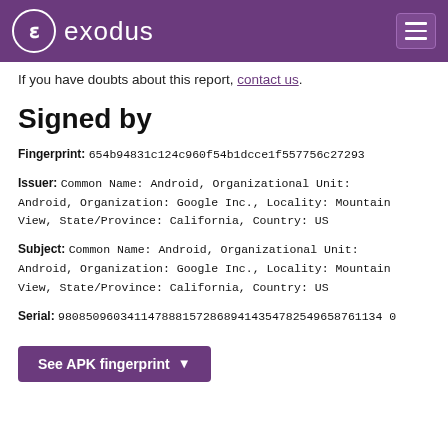exodus
If you have doubts about this report, contact us.
Signed by
Fingerprint: 654b94831c124c960f54b1dcce1f557756c27293
Issuer: Common Name: Android, Organizational Unit: Android, Organization: Google Inc., Locality: Mountain View, State/Province: California, Country: US
Subject: Common Name: Android, Organizational Unit: Android, Organization: Google Inc., Locality: Mountain View, State/Province: California, Country: US
Serial: 98085096034114788815728689414354782549658761134 0